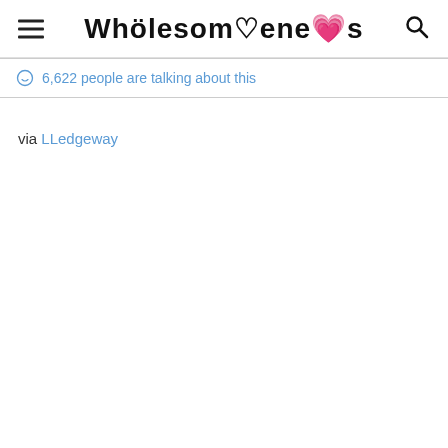Wholesomeness
6,622 people are talking about this
via LLedgeway